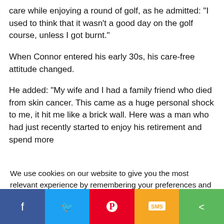care while enjoying a round of golf, as he admitted: “I used to think that it wasn't a good day on the golf course, unless I got burnt.”
When Connor entered his early 30s, his care-free attitude changed.
He added: “My wife and I had a family friend who died from skin cancer. This came as a huge personal shock to me, it hit me like a brick wall. Here was a man who had just recently started to enjoy his retirement and spend more
We use cookies on our website to give you the most relevant experience by remembering your preferences and repeat visits. By clicking “Accept”, you consent to the use of ALL the cookies.
Do not sell my personal information.
[Figure (screenshot): Social media share bar at bottom with Facebook (blue), Twitter (light blue), Pinterest (red), SMS (yellow/orange), and share (green) buttons showing icons]